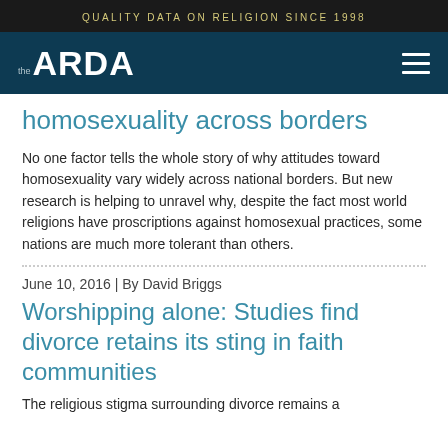QUALITY DATA ON RELIGION SINCE 1998
[Figure (logo): The ARDA logo with navigation hamburger menu on dark blue background]
… homosexuality across borders
No one factor tells the whole story of why attitudes toward homosexuality vary widely across national borders. But new research is helping to unravel why, despite the fact most world religions have proscriptions against homosexual practices, some nations are much more tolerant than others.
June 10, 2016 | By David Briggs
Worshipping alone: Studies find divorce retains its sting in faith communities
The religious stigma surrounding divorce remains a